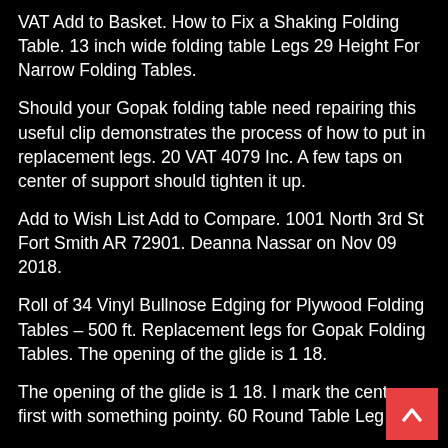VAT Add to Basket. How to Fix a Shaking Folding Table. 13 inch wide folding table Legs 29 Height For Narrow Folding Tables.
Should your Gopak folding table need repairing this useful clip demonstrates the process of how to put in replacement legs. 20 VAT 4079 Inc. A few taps on center of support should tighten it up.
Add to Wish List Add to Compare. 1001 North 3rd St Fort Smith AR 72901. Deanna Nassar on Nov 09 2018.
Roll of 34 Vinyl Bullnose Edging for Plywood Folding Tables – 500 ft. Replacement legs for Gopak Folding Tables. The opening of the glide is 1 18.
The opening of the glide is 1 18. I mark the center first with something pointy. 60 Round Table Leg Set.